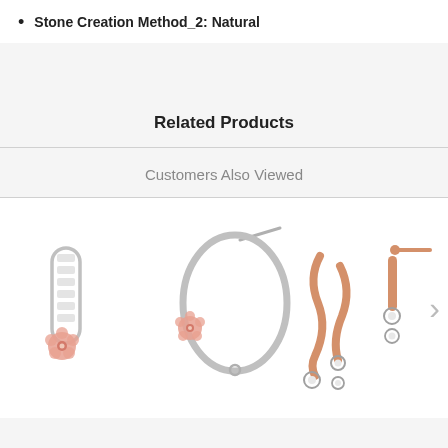Stone Creation Method_2: Natural
Related Products
Customers Also Viewed
[Figure (photo): Two pairs of jewelry earrings displayed side by side. Left pair: white gold and rose gold earrings featuring a flower accent with baguette diamond accents and an oval hoop earring with a flower accent. Right pair: rose gold earrings with a twisted/wavy design and diamond accents, shown as jacket and stud pair.]